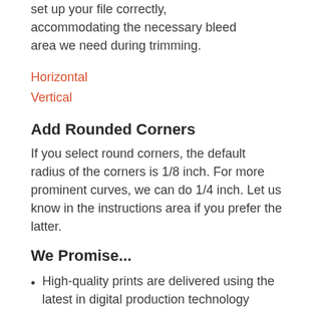set up your file correctly, accommodating the necessary bleed area we need during trimming.
Horizontal
Vertical
Add Rounded Corners
If you select round corners, the default radius of the corners is 1/8 inch. For more prominent curves, we can do 1/4 inch. Let us know in the instructions area if you prefer the latter.
We Promise...
High-quality prints are delivered using the latest in digital production technology